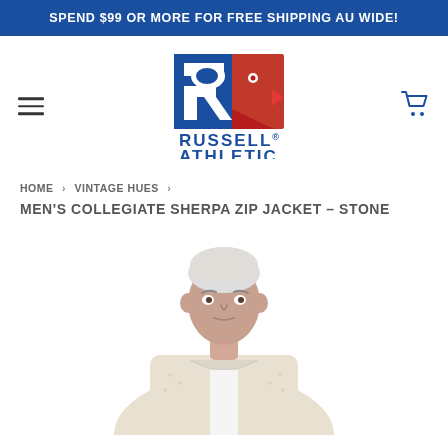SPEND $99 OR MORE FOR FREE SHIPPING AU WIDE!
[Figure (logo): Russell Athletic logo with blue R block and red eagle head, text RUSSELL ATHLETIC below]
HOME › VINTAGE HUES ›
MEN'S COLLEGIATE SHERPA ZIP JACKET – STONE
[Figure (photo): Male model with short blonde/grey hair wearing a stone/cream colored collegiate sherpa zip jacket over a white shirt, photographed from chest up on white background]